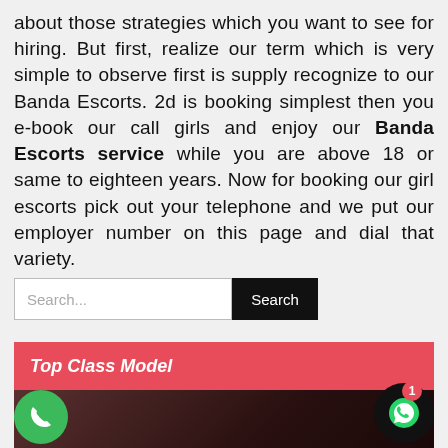about those strategies which you want to see for hiring. But first, realize our term which is very simple to observe first is supply recognize to our Banda Escorts. 2d is booking simplest then you e-book our call girls and enjoy our Banda Escorts service while you are above 18 or same to eighteen years. Now for booking our girl escorts pick out your telephone and we put our employer number on this page and dial that variety.
[Figure (screenshot): Search bar with text input showing placeholder 'Search...' and a dark Search button]
Top Class Model
[Figure (photo): Dark image showing a person's head/hair against dark red/maroon background, with a green phone call button on the left and a WhatsApp icon button with red badge showing '1' on the right]